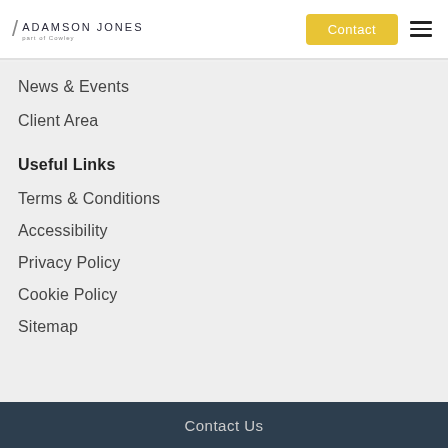ADAMSON JONES | Contact | Menu
News & Events
Client Area
Useful Links
Terms & Conditions
Accessibility
Privacy Policy
Cookie Policy
Sitemap
Contact Us